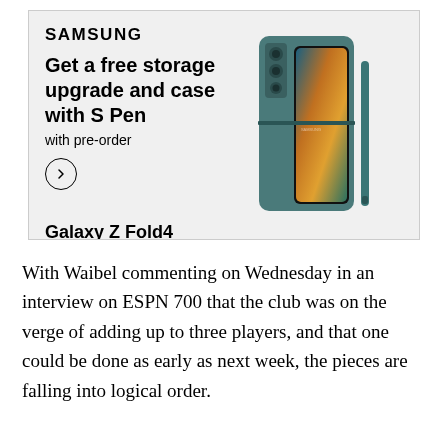[Figure (screenshot): Samsung advertisement for Galaxy Z Fold4. Shows Samsung logo, headline 'Get a free storage upgrade and case with S Pen', subheadline 'with pre-order', a circle arrow button, product name 'Galaxy Z Fold4', disclaimer text 'See terms and conditions. S Pen compatible only with Galaxy Z Fold4 main display.', and an image of the Galaxy Z Fold4 phone in teal with S Pen.]
With Waibel commenting on Wednesday in an interview on ESPN 700 that the club was on the verge of adding up to three players, and that one could be done as early as next week, the pieces are falling into logical order.